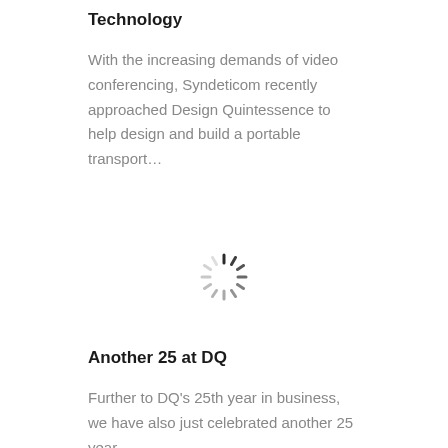Technology
With the increasing demands of video conferencing, Syndeticom recently approached Design Quintessence to help design and build a portable transport…
[Figure (other): Loading spinner / activity indicator icon — a circular dashed spinner with radiating lines of varying opacity arranged in a circle, rendered in dark grey/black on white background.]
Another 25 at DQ
Further to DQ's 25th year in business, we have also just celebrated another 25 year